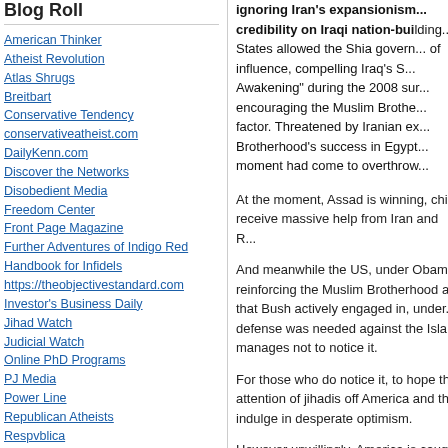Blog Roll
American Thinker
Atheist Revolution
Atlas Shrugs
Breitbart
Conservative Tendency
conservativeatheist.com
DailyKenn.com
Discover the Networks
Disobedient Media
Freedom Center
Front Page Magazine
Further Adventures of Indigo Red
Handbook for Infidels
https://theobjectivestandard.com
Investor's Business Daily
Jihad Watch
Judicial Watch
Online PhD Programs
PJ Media
Power Line
Republican Atheists
Respvblica
Savvy Street
Secular Conservative
Secular Right
Steyn on Line
Sultan Knish
The Freedom Association
The Objective Standard
The Religion of Peace
ignoring Iran's expansionism... credibility on Iraqi nation-building... States allowed the Shia govern... of influence, compelling Iraq's S... Awakening" during the 2008 su... encouraging the Muslim Brothe... factor. Threatened by Iranian ex... Brotherhood's success in Egypt... moment had come to overthrow...
At the moment, Assad is winning, chi... receive massive help from Iran and R...
And meanwhile the US, under Obam... reinforcing the Muslim Brotherhood a... that Bush actively engaged in, under... defense was needed against the Isla... manages not to notice it.
For those who do notice it, to hope th... attention of jihadis off America and th... indulge in desperate optimism.
However unwillingly, America is caug... should it be doing? Goldman does... Syria should be actively supported, e...